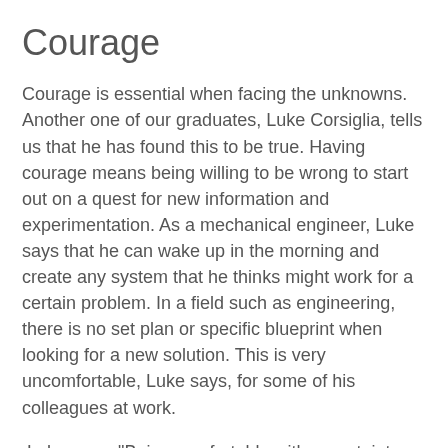Courage
Courage is essential when facing the unknowns. Another one of our graduates, Luke Corsiglia, tells us that he has found this to be true. Having courage means being willing to be wrong to start out on a quest for new information and experimentation. As a mechanical engineer, Luke says that he can wake up in the morning and create any system that he thinks might work for a certain problem. In a field such as engineering, there is no set plan or specific blueprint when looking for a new solution. This is very uncomfortable, Luke says, for some of his colleagues at work.
Luke says, "Being comfortable with uncertainty… I see it a lot in some younger engineers I work with, they're not comfortable with that… When they get thrown into this environment where you've got some rough guidelines, but